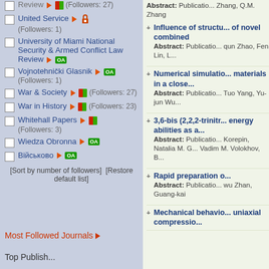Review (Followers: 27) [cropped top]
United Service ▶ 🔒 (Followers: 1)
University of Miami National Security & Armed Conflict Law Review ▶ OA
Vojnotehnički Glasnik ▶ OA (Followers: 1)
War & Society ▶ [partial] (Followers: 27)
War in History ▶ [partial] (Followers: 23)
Whitehall Papers ▶ [partial] (Followers: 3)
Wiedza Obronna ▶ OA
ВійськовоОА
[Sort by number of followers] [Restore default list]
Most Followed Journals ▶
Top Publish...
Abstract: Publication Zhang, Q.M. Zhang
Influence of structu... of novel combined
Abstract: Publication qun Zhao, Fen Lin, L...
Numerical simulatio... materials in a close...
Abstract: Publication Tuo Yang, Yu-jun Wu...
3,6-bis (2,2,2-trinitr... energy abilities as a...
Abstract: Publication Korepin, Natalia M. G... Vadim M. Volokhov, B...
Rapid preparation o...
Abstract: Publication wu Zhan, Guang-kai
Mechanical behavio... uniaxial compressio...